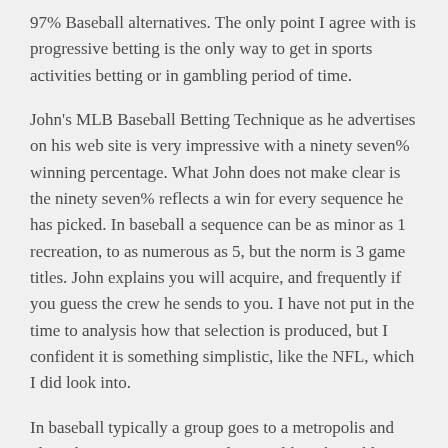97% Baseball alternatives. The only point I agree with is progressive betting is the only way to get in sports activities betting or in gambling period of time.
John's MLB Baseball Betting Technique as he advertises on his web site is very impressive with a ninety seven% winning percentage. What John does not make clear is the ninety seven% reflects a win for every sequence he has picked. In baseball a sequence can be as minor as 1 recreation, to as numerous as 5, but the norm is 3 game titles. John explains you will acquire, and frequently if you guess the crew he sends to you. I have not put in the time to analysis how that selection is produced, but I confident it is something simplistic, like the NFL, which I did look into.
In baseball typically a group goes to a metropolis and plays three games, not a single sport like other athletics. This is how he advises you to earn!!! In the first sport of a chosen sequence you guess to earn $a hundred, which could be as minor as $fifty.00 if it is a enormous underdog, but I am positive, that most of his selections are likely to be house groups that are favored. If that is the case you